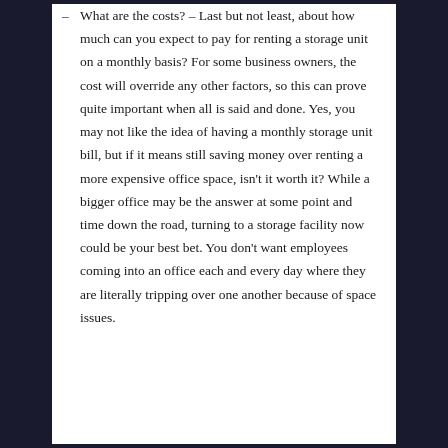What are the costs? – Last but not least, about how much can you expect to pay for renting a storage unit on a monthly basis? For some business owners, the cost will override any other factors, so this can prove quite important when all is said and done. Yes, you may not like the idea of having a monthly storage unit bill, but if it means still saving money over renting a more expensive office space, isn't it worth it? While a bigger office may be the answer at some point and time down the road, turning to a storage facility now could be your best bet. You don't want employees coming into an office each and every day where they are literally tripping over one another because of space issues.